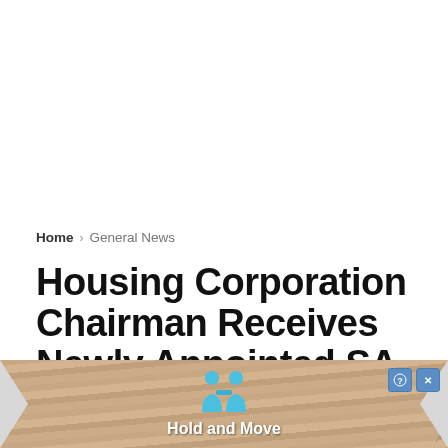Home › General News
Housing Corporation Chairman Receives Newly Appointed SA On Housing, Urban Development
[Figure (illustration): Advertisement banner with wood-grain striped background, two blue cartoon human figures, help and close icons in blue, and text 'Hold and Move']